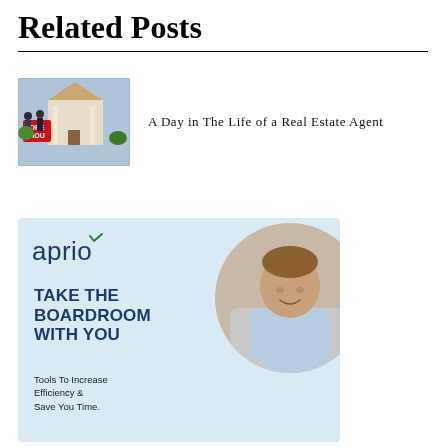Related Posts
[Figure (photo): Open house sign with people in background]
A Day in The Life of a Real Estate Agent
[Figure (illustration): Aprio advertisement: TAKE THE BOARDROOM WITH YOU. Tools To Increase Efficiency & Save You Time. Shows a man looking at a phone, with Aprio logo and light blue background.]